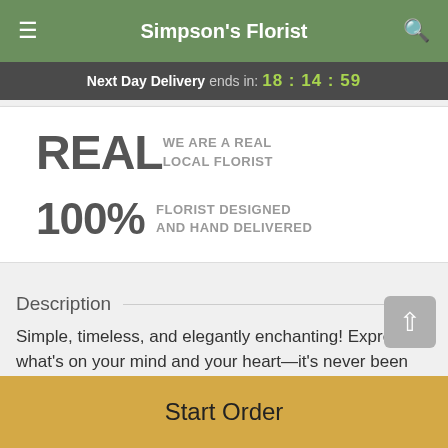Simpson's Florist
Next Day Delivery ends in: 18:14:59
REAL  WE ARE A REAL LOCAL FLORIST
100%  FLORIST DESIGNED AND HAND DELIVERED
Description
Simple, timeless, and elegantly enchanting! Express what's on your mind and your heart—it's never been easier with Simple Flowers Collection. Bouquets of all...
Start Order